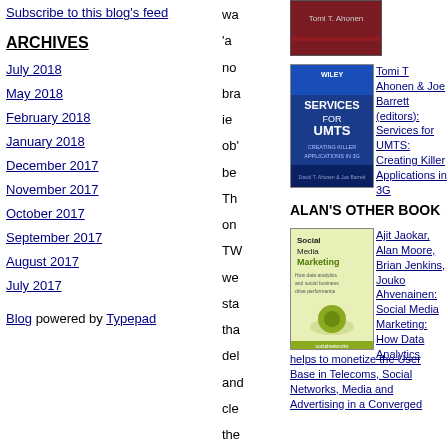Subscribe to this blog's feed
ARCHIVES
July 2018
May 2018
February 2018
January 2018
December 2017
November 2017
October 2017
September 2017
August 2017
July 2017
Blog powered by Typepad
wa
'a
no
bra
ie
ob'
be
Th
on
TW
we
sta
tha
del
and
cle
the
[Figure (photo): Book cover image - red/dark colored book]
[Figure (photo): Book cover: Services for UMTS - Creating Killer Applications in 3G, blue cover]
Tomi T Ahonen & Joe Barrett (editors): Services for UMTS: Creating Killer Applications in 3G
ALAN'S OTHER BOOK
[Figure (photo): Book cover: Social Media Marketing - How Data Analytics helps to monetize the User Base in Telecoms, Social Networks, Media and Advertising in a Converged]
Ajit Jaokar, Alan Moore, Brian Jenkins, Jouko Ahvenainen: Social Media Marketing: How Data Analytics helps to monetize the User Base in Telecoms, Social Networks, Media and Advertising in a Converged